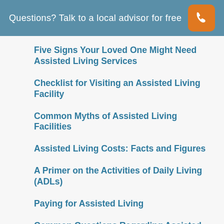Questions? Talk to a local advisor for free
Five Signs Your Loved One Might Need Assisted Living Services
Checklist for Visiting an Assisted Living Facility
Common Myths of Assisted Living Facilities
Assisted Living Costs: Facts and Figures
A Primer on the Activities of Daily Living (ADLs)
Paying for Assisted Living
Common Questions Regarding Assisted Living Facilities
Nursing Care in Assisted Living: How do